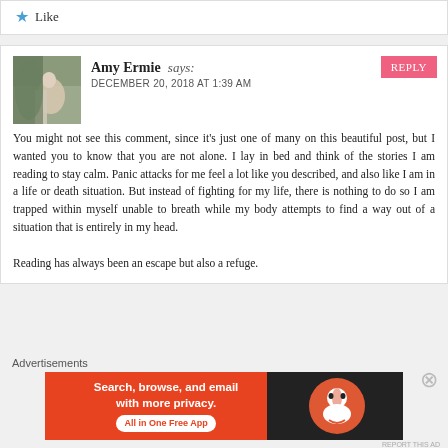Like
Amy Ermie says: DECEMBER 20, 2018 AT 1:39 AM
You might not see this comment, since it's just one of many on this beautiful post, but I wanted you to know that you are not alone. I lay in bed and think of the stories I am reading to stay calm. Panic attacks for me feel a lot like you described, and also like I am in a life or death situation. But instead of fighting for my life, there is nothing to do so I am trapped within myself unable to breath while my body attempts to find a way out of a situation that is entirely in my head.

Reading has always been an escape but also a refuge.
Advertisements
[Figure (screenshot): DuckDuckGo advertisement banner: 'Search, browse, and email with more privacy. All in One Free App' with DuckDuckGo logo on orange and dark background.]